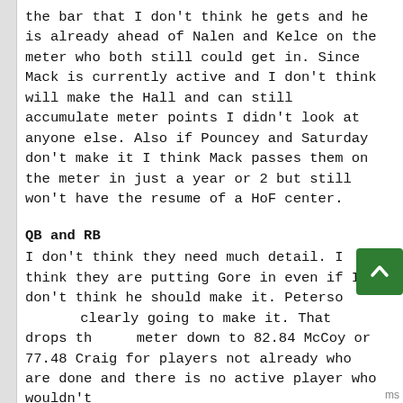the bar that I don't think he gets and he is already ahead of Nalen and Kelce on the meter who both still could get in. Since Mack is currently active and I don't think will make the Hall and can still accumulate meter points I didn't look at anyone else. Also if Pouncey and Saturday don't make it I think Mack passes them on the meter in just a year or 2 but still won't have the resume of a HoF center.
QB and RB
I don't think they need much detail. I think they are putting Gore in even if I don't think he should make it. Peterson clearly going to make it. That drops the meter down to 82.84 McCoy or 77.48 Craig for players not already who are done and there is no active player who wouldn't